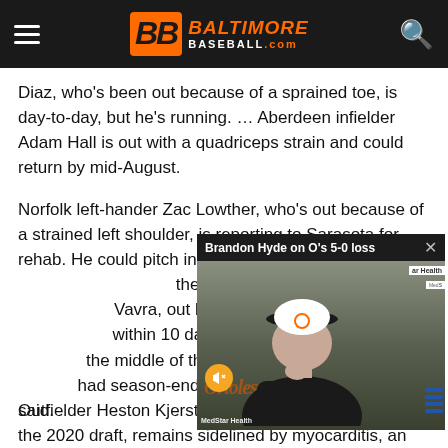BaltimoreBASEBALL.com
Diaz, who’s been out because of a sprained toe, is day-to-day, but he’s running. … Aberdeen infielder Adam Hall is out with a quadriceps strain and could return by mid-August.
Norfolk left-hander Zac Lowther, who’s out because of a strained left shoulder, is reporting to Sarasota for rehab. He could pitch in Florida C the Tides by the end of Vavra, out because of a within 10 days and Elias the middle of the month had season-ending sho Elias said.
[Figure (screenshot): Video overlay showing Brandon Hyde at press conference with title 'Brandon Hyde on O’s 5-0 loss' and close button]
Outfielder Heston Kjerstad, the overall No. 2 pick in the 2020 draft, remains sidelined by myocarditis, an